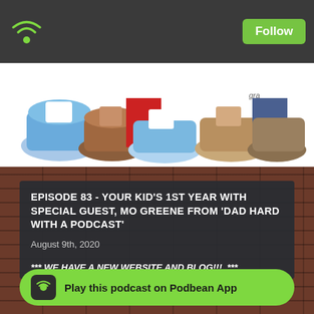[Figure (screenshot): Podcast app top bar with green wifi/signal icon on left and green Follow button on right, dark gray background]
[Figure (illustration): Cartoon illustration of children's feet and shoes in colorful sneakers, comic art style on white background]
EPISODE 83 - YOUR KID'S 1ST YEAR WITH SPECIAL GUEST, MO GREENE FROM 'DAD HARD WITH A PODCAST'
August 9th, 2020
*** WE HAVE A NEW WEBSITE AND BLOG!!!  ***
Go check it out at https://daradioclub.com
[Figure (screenshot): Play this podcast on Podbean App - green pill-shaped button with Podbean icon]